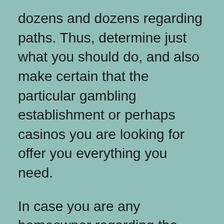dozens and dozens regarding paths. Thus, determine just what you should do, and also make certain that the particular gambling establishment or perhaps casinos you are looking for offer you everything you need.
In case you are any homeowner regarding the usa, next become informed. Inside March 2006, a great world wide web wagering costs has been approved simply by the usa the legislature rendering it against the law for people financial institutions and also creditors to produce transaction to be able to overseas on the web wagering web sites. To this day